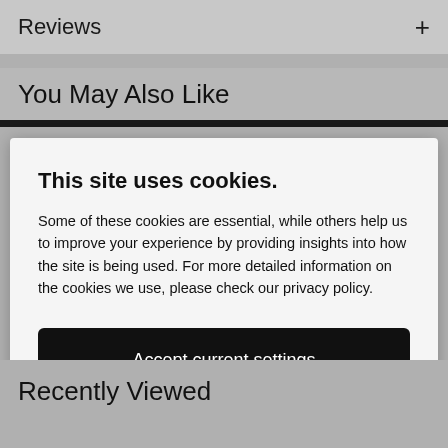Reviews +
You May Also Like
This site uses cookies.
Some of these cookies are essential, while others help us to improve your experience by providing insights into how the site is being used. For more detailed information on the cookies we use, please check our privacy policy.
Accept current settings
Configure
Recently Viewed